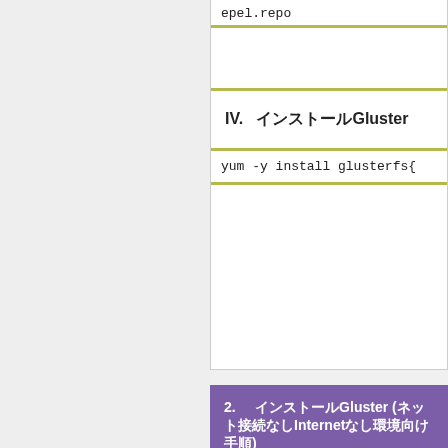epel.repo
IV.   インストールGluster
yum -y install glusterfs{
2.    インストールGluster (ネット接続なしInternet環境向け手順)
I.   インストールCentOSの最小構成（Basic Server）の選択
II.   ダウンロードGlusterのパッケージ
glusterfs-3.3.1-1.el6.x86_64.rpm